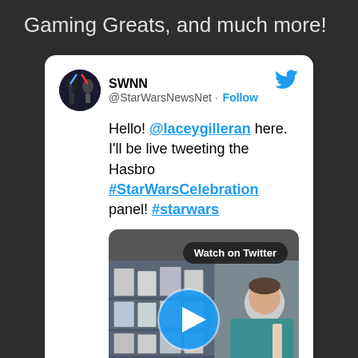Gaming Greats, and much more!
[Figure (screenshot): Embedded tweet card from @StarWarsNewsNet (SWNN) with text: Hello! @laceygilleran here. I'll be live tweeting the Hasbro #StarWarsCelebration panel! #starwars, with a GIF media thumbnail showing a person in front of action figures with a Watch on Twitter badge and play button overlay.]